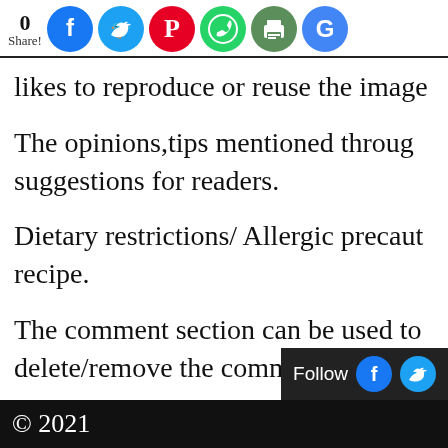0 Share! [social icons: Facebook, Twitter, Pinterest, WhatsApp, Print, Google]
likes to reproduce or reuse the image
The opinions,tips mentioned through suggestions for readers.
Dietary restrictions/ Allergic precaut recipe.
The comment section can be used to delete/remove the comment if the co
Follow [Facebook] [Twitter]
© 2021